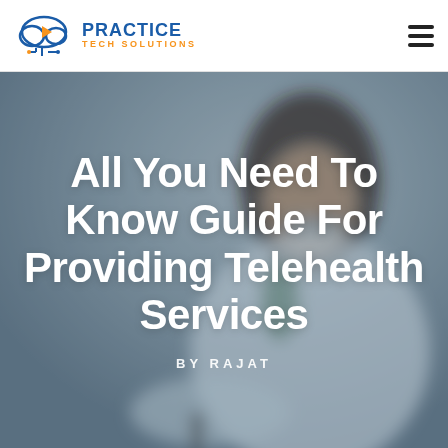[Figure (logo): Practice Tech Solutions logo with cloud and circuit icon in blue and orange]
Practice Tech Solutions
[Figure (photo): Blurred background photo of a female doctor with long dark hair, wearing glasses and a white coat, smiling while writing notes]
All You Need To Know Guide For Providing Telehealth Services
BY RAJAT